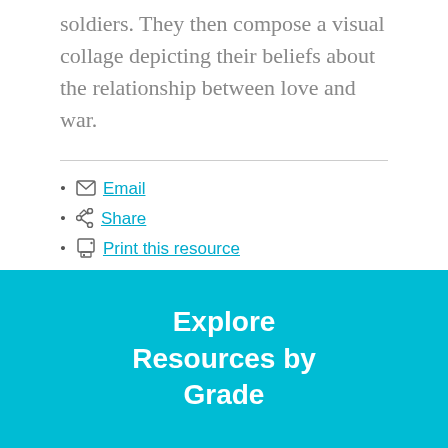soldiers. They then compose a visual collage depicting their beliefs about the relationship between love and war.
Email
Share
Print this resource
Explore Resources by Grade